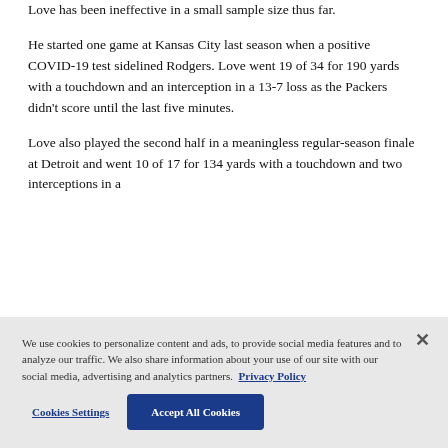Love has been ineffective in a small sample size thus far.
He started one game at Kansas City last season when a positive COVID-19 test sidelined Rodgers. Love went 19 of 34 for 190 yards with a touchdown and an interception in a 13-7 loss as the Packers didn't score until the last five minutes.
Love also played the second half in a meaningless regular-season finale at Detroit and went 10 of 17 for 134 yards with a touchdown and two interceptions in a
We use cookies to personalize content and ads, to provide social media features and to analyze our traffic. We also share information about your use of our site with our social media, advertising and analytics partners. Privacy Policy
Cookies Settings
Accept All Cookies